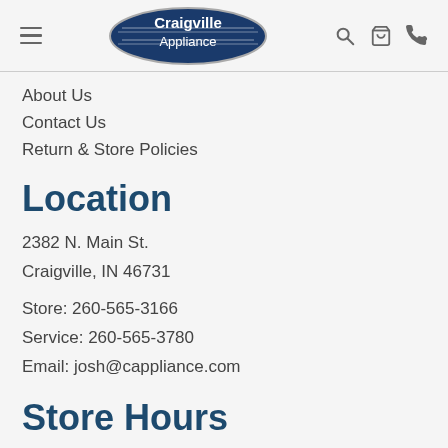Craigville Appliance
About Us
Contact Us
Return & Store Policies
Location
2382 N. Main St.
Craigville, IN 46731
Store: 260-565-3166
Service: 260-565-3780
Email: josh@cappliance.com
Store Hours